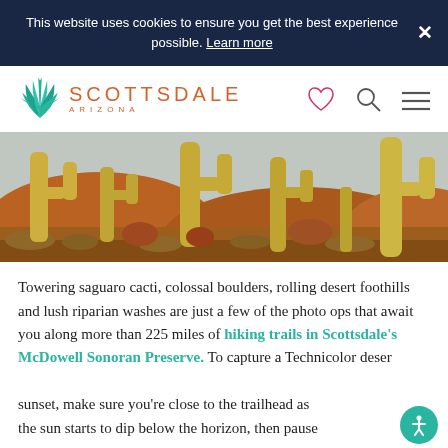This website uses cookies to ensure you get the best experience possible. Learn more
[Figure (logo): Scottsdale Arizona logo with agave plant icon in teal/green and SCOTTSDALE ARIZONA text in orange]
[Figure (photo): Desert landscape with tall saguaro cacti, rocky boulders and hills bathed in golden sunset light]
Towering saguaro cacti, colossal boulders, rolling desert foothills and lush riparian washes are just a few of the photo ops that await you along more than 225 miles of hiking trails in Scottsdale's McDowell Sonoran Preserve. To capture a Technicolor desert sunset, make sure you're close to the trailhead as the sun starts to dip below the horizon, then pause